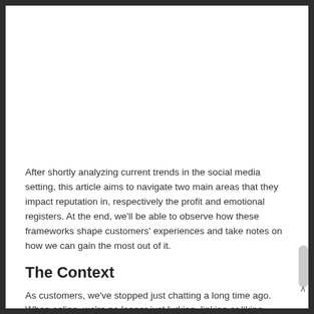After shortly analyzing current trends in the social media setting, this article aims to navigate two main areas that they impact reputation in, respectively the profit and emotional registers. At the end, we'll be able to observe how these frameworks shape customers' experiences and take notes on how we can gain the most out of it.
The Context
As customers, we've stopped just chatting a long time ago. When online, we're no longer just lurking, linking or liking.